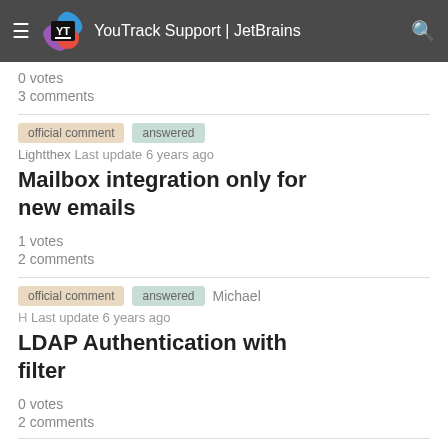YouTrack Support | JetBrains
0 votes
3 comments
official comment   answered   Lightthex   Last update 6 years ago
Mailbox integration only for new emails
1 votes
2 comments
official comment   answered   Michael H   Last update 6 years ago
LDAP Authentication with filter
0 votes
2 comments